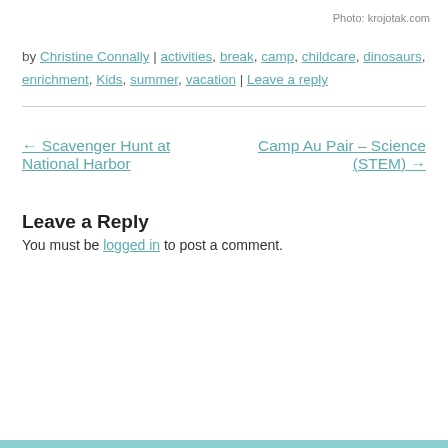Photo: krojotak.com
by Christine Connally | activities, break, camp, childcare, dinosaurs, enrichment, Kids, summer, vacation | Leave a reply
← Scavenger Hunt at National Harbor
Camp Au Pair – Science (STEM) →
Leave a Reply
You must be logged in to post a comment.